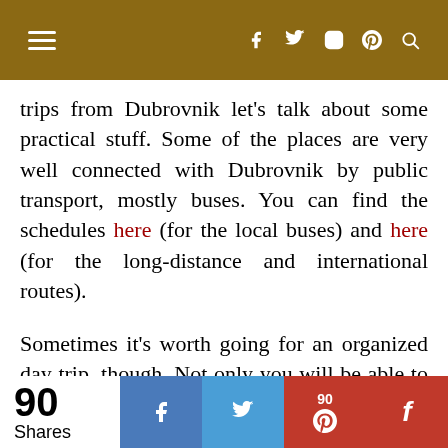Navigation bar with hamburger menu and social icons (Facebook, Twitter, Instagram, Pinterest, Search)
trips from Dubrovnik let's talk about some practical stuff. Some of the places are very well connected with Dubrovnik by public transport, mostly buses. You can find the schedules here (for the local buses) and here (for the long-distance and international routes).
Sometimes it's worth going for an organized day trip, though. Not only you will be able to see more on that day, you will also learn about the places you're visiting. Be...
90 Shares | Facebook share | Twitter share | 90 Pinterest | Flipboard